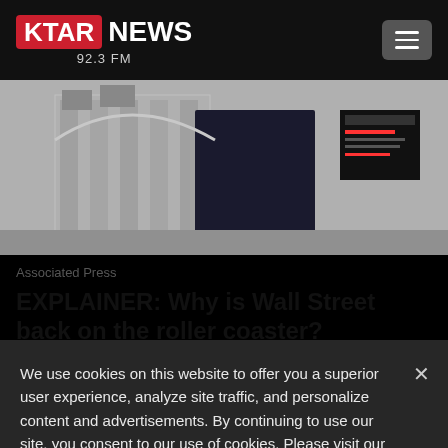KTAR NEWS 92.3 FM
[Figure (photo): Black and white photo of Wall Street building exterior with a person in dark clothing in the foreground]
Associated Press
EXPLAINER: Why is Wall Street back on the roller coaster?
We use cookies on this website to offer you a superior user experience, analyze site traffic, and personalize content and advertisements. By continuing to use our site, you consent to our use of cookies. Please visit our Privacy Policy for more information.
Accept Cookies